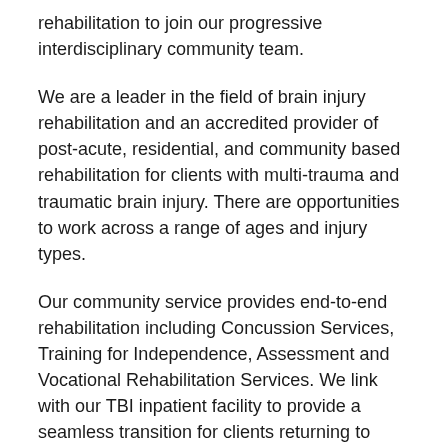rehabilitation to join our progressive interdisciplinary community team.
We are a leader in the field of brain injury rehabilitation and an accredited provider of post-acute, residential, and community based rehabilitation for clients with multi-trauma and traumatic brain injury. There are opportunities to work across a range of ages and injury types.
Our community service provides end-to-end rehabilitation including Concussion Services, Training for Independence, Assessment and Vocational Rehabilitation Services. We link with our TBI inpatient facility to provide a seamless transition for clients returning to living and working in the community. We see our client's at home, workplace, school, and clinic-based settings. We have a strong client and family/whanau focus.